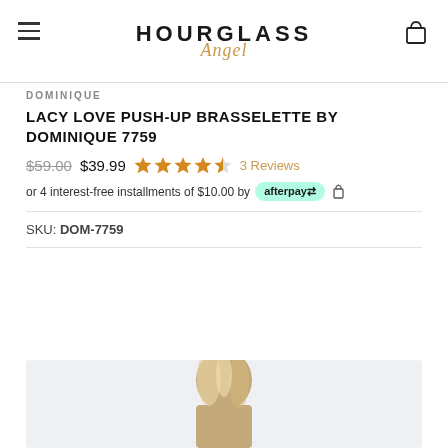HOURGLASS Angel
DOMINIQUE
LACY LOVE PUSH-UP BRASSELETTE BY DOMINIQUE 7759
$59.00 $39.99 ★★★★☆ 3 Reviews
or 4 interest-free installments of $10.00 by afterpay
SKU: DOM-7759
[Figure (photo): Model with blonde hair wearing product]